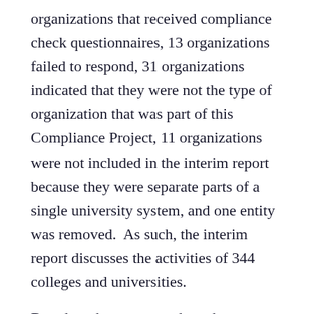organizations that received compliance check questionnaires, 13 organizations failed to respond, 31 organizations indicated that they were not the type of organization that was part of this Compliance Project, 11 organizations were not included in the interim report because they were separate parts of a single university system, and one entity was removed.  As such, the interim report discusses the activities of 344 colleges and universities.
Based on the report, to date, the Compliance Project has resulted in 30 examinations, more than 8% of the colleges and universities that